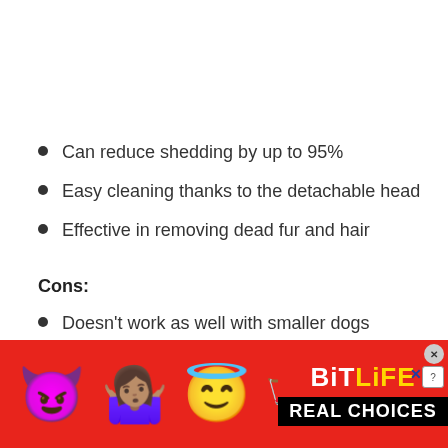Can reduce shedding by up to 95%
Easy cleaning thanks to the detachable head
Effective in removing dead fur and hair
Cons:
Doesn't work as well with smaller dogs
Needs more caution when used with cats or smaller
[Figure (illustration): BitLife app advertisement banner with red background, emojis (devil, woman shrugging, angel, sperm), BitLife logo in white and yellow, and 'REAL CHOICES' text in black bar]